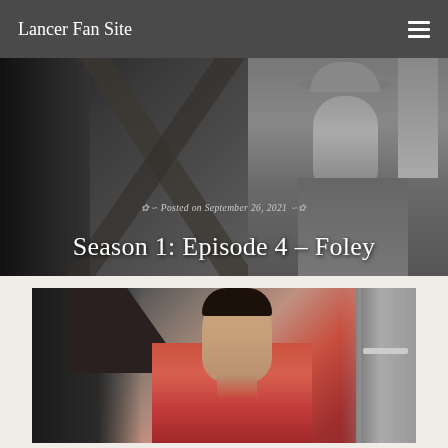Lancer Fan Site
[Figure (photo): Black and white photo of a cowboy on horseback with diagonal beams/posts in background]
Posted on September 26, 2021
Season 1: Episode 4 – Foley
[Figure (photo): Colorized photo of a young dark-haired man in a red shirt standing in front of a door/wall]